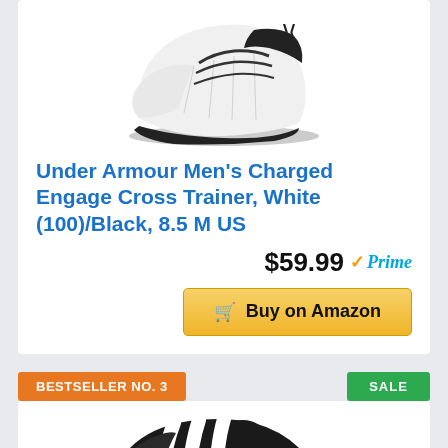[Figure (photo): White Under Armour Charged Engage cross trainer sneaker, top-down side view with black laces and black UA logo]
Under Armour Men's Charged Engage Cross Trainer, White (100)/Black, 8.5 M US
$59.99 ✓Prime
🛒 Buy on Amazon
BESTSELLER NO. 3
SALE
[Figure (photo): Black Adidas Samba classic sneaker with white three stripes and gum sole, side view]